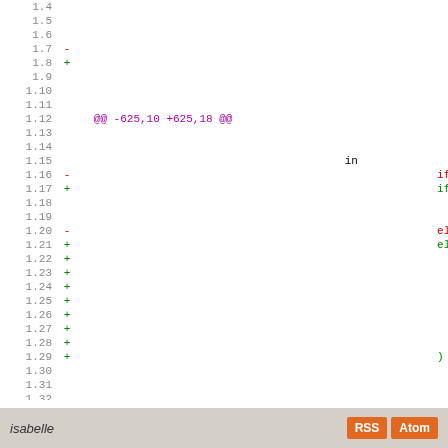[Figure (screenshot): Code diff view showing lines 1.4 through 1.32 with line numbers, diff markers (+ and -), and code content including a hunk header @@ -625,10 +625,18 @@ and diff lines with red removed lines and green added lines including keywords: if is_IDT_c, else, else if is_, warn, col., ) else, (ca, S]
isabelle  RSS  Atom